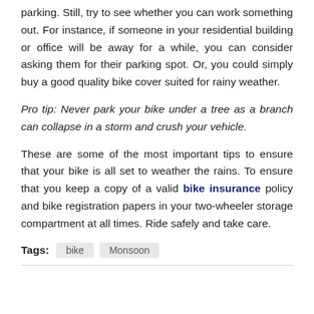parking. Still, try to see whether you can work something out. For instance, if someone in your residential building or office will be away for a while, you can consider asking them for their parking spot. Or, you could simply buy a good quality bike cover suited for rainy weather.
Pro tip: Never park your bike under a tree as a branch can collapse in a storm and crush your vehicle.
These are some of the most important tips to ensure that your bike is all set to weather the rains. To ensure that you keep a copy of a valid bike insurance policy and bike registration papers in your two-wheeler storage compartment at all times. Ride safely and take care.
Tags: bike Monsoon